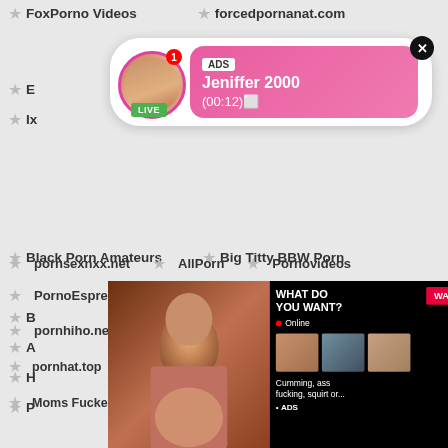★ FoxPorno Videos   ★ forcedpornanat.com
[Figure (screenshot): Ad notification popup with live avatar, ADS label, name Jeniffer 2000, time (00:12)]
★ Black Porn Amateurs   ★ Big Titty BBW Porn
[Figure (screenshot): Adult ad popup: WHAT DO YOU WANT? WATCH button, Online, thumbnails, Cumming ass fucking squirt or... ADS]
★ pornsexnxx.net   ★ AllPorn   ★ Pornovideos
★ PornoEspresso   ★ Porno Blacked Videos
★ pornhiho.net   ★ Best Lesbian Babes Video
★ pornhat.top   ★ Only Teen Pussy   ★ HOT NUDE GIRLS
★ Moms Fuckers Video   ★ Milfrabbit Porn   ★ Milffox